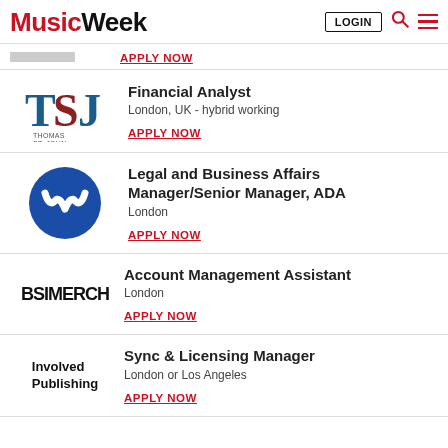Music Week | LOGIN | Search | Menu
APPLY NOW
Financial Analyst
London, UK - hybrid working
APPLY NOW
Legal and Business Affairs Manager/Senior Manager, ADA
London
APPLY NOW
Account Management Assistant
London
APPLY NOW
Sync & Licensing Manager
London or Los Angeles
APPLY NOW